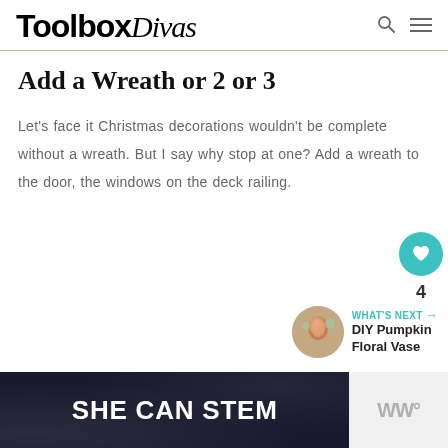ToolboxDivas
Add a Wreath or 2 or 3
Let's face it Christmas decorations wouldn't be complete without a wreath. But I say why stop at one? Add a wreath to the door, the windows on the deck railing.
[Figure (infographic): Floating action buttons: teal heart icon button, number 4, share button]
[Figure (infographic): What's Next panel with thumbnail image and text: DIY Pumpkin Floral Vase]
[Figure (infographic): Advertisement banner: SHE CAN STEM on dark background with logo on right]